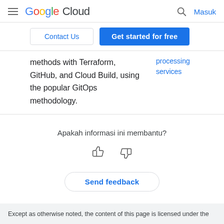Google Cloud  Masuk
Contact Us   Get started for free
methods with Terraform, GitHub, and Cloud Build, using the popular GitOps methodology.
processing services
Apakah informasi ini membantu?
Send feedback
Except as otherwise noted, the content of this page is licensed under the